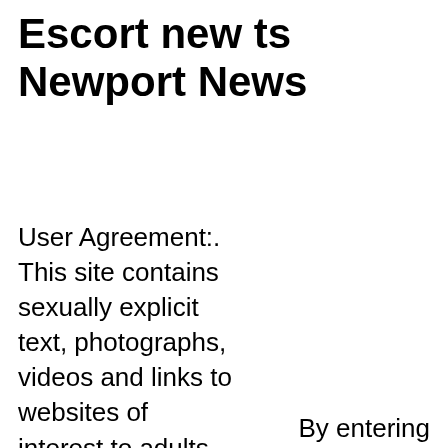Escort new ts Newport News
User Agreement:. This site contains sexually explicit text, photographs, videos and links to websites of interest to adults.
By entering